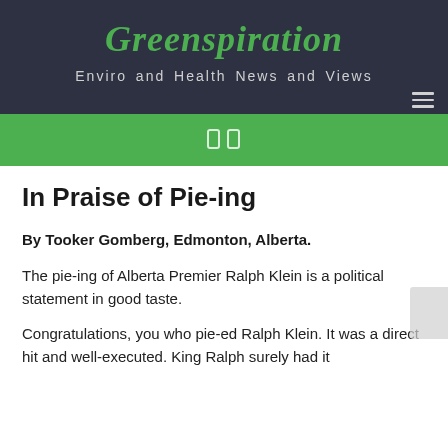Greenspiration
Enviro and Health News and Views
In Praise of Pie-ing
By Tooker Gomberg, Edmonton, Alberta.
The pie-ing of Alberta Premier Ralph Klein is a political statement in good taste.
Congratulations, you who pie-ed Ralph Klein. It was a direct hit and well-executed. King Ralph surely had it